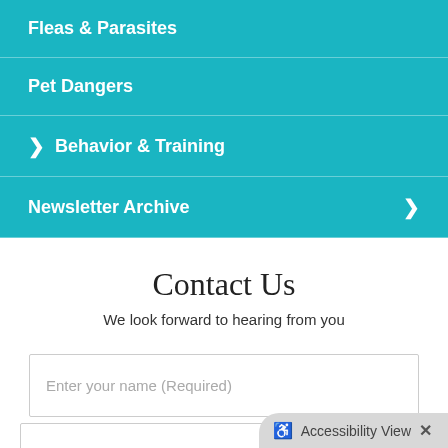Fleas & Parasites
Pet Dangers
▶ Behavior & Training
Newsletter Archive ▶
Contact Us
We look forward to hearing from you
Enter your name (Required)
♿ Accessibility View ×